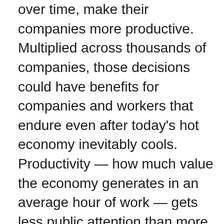over time, make their companies more productive. Multiplied across thousands of companies, those decisions could have benefits for companies and workers that endure even after today's hot economy inevitably cools. Productivity — how much value the economy generates in an average hour of work — gets less public attention than more intuitive economic concepts such as employment and wages, but it may be even more fundamental. Rising productivity — whether through better technology, more educated workers or smarter business strategies — is why people's economic fortunes, on average, improve over time. When productivity